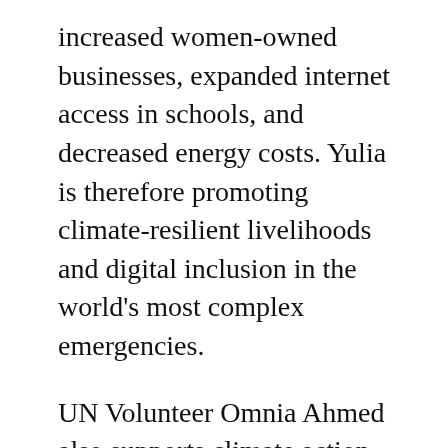increased women-owned businesses, expanded internet access in schools, and decreased energy costs. Yulia is therefore promoting climate-resilient livelihoods and digital inclusion in the world's most complex emergencies.
UN Volunteer Omnia Ahmed also supports climate action in the region through volunteering, serving as a Project Associate for Climate Change with the United Nations Environment Program (UNEP) Regional Office for West Asia, based in Manama, Bahrain. She is engaged in the area of knowledge-sharing between and among countries on